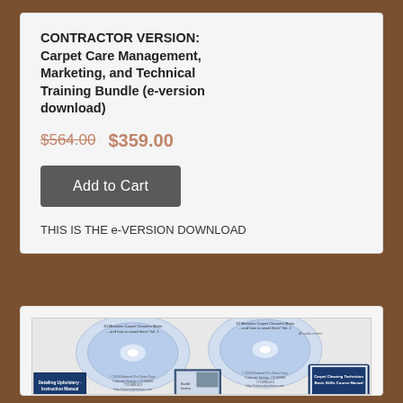CONTRACTOR VERSION: Carpet Care Management, Marketing, and Technical Training Bundle (e-version download)
$564.00  $359.00
Add to Cart
THIS IS THE e-VERSION DOWNLOAD
[Figure (photo): Product bundle image showing two CD discs labeled '10 Mistakes Carpet Cleaners Make and how to avoid them Vol. 1 and Vol. 2', a book titled 'Detailing Upholstery Instruction Manual', a CD case/booklet, and a book titled 'Carpet Cleaning Technician Basic Skills Course Manual']